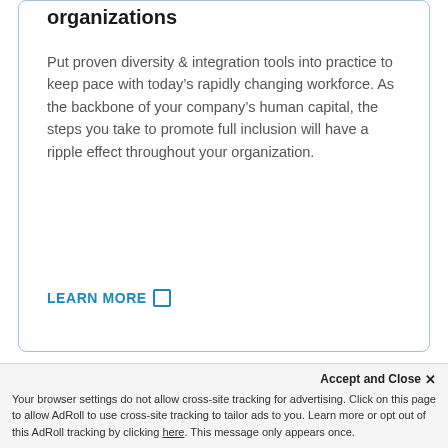organizations
Put proven diversity & integration tools into practice to keep pace with today’s rapidly changing workforce. As the backbone of your company’s human capital, the steps you take to promote full inclusion will have a ripple effect throughout your organization.
LEARN MORE
Accept and Close ×
Your browser settings do not allow cross-site tracking for advertising. Click on this page to allow AdRoll to use cross-site tracking to tailor ads to you. Learn more or opt out of this AdRoll tracking by clicking here. This message only appears once.